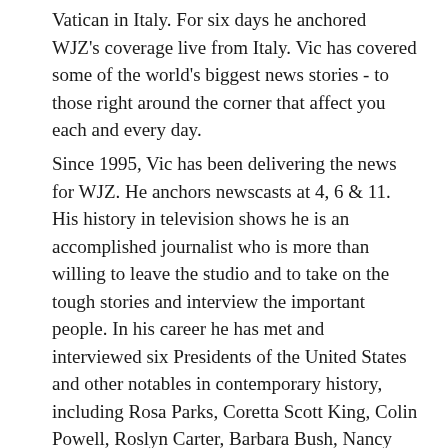Vatican in Italy. For six days he anchored WJZ's coverage live from Italy. Vic has covered some of the world's biggest news stories - to those right around the corner that affect you each and every day.
Since 1995, Vic has been delivering the news for WJZ. He anchors newscasts at 4, 6 & 11. His history in television shows he is an accomplished journalist who is more than willing to leave the studio and to take on the tough stories and interview the important people. In his career he has met and interviewed six Presidents of the United States and other notables in contemporary history, including Rosa Parks, Coretta Scott King, Colin Powell, Roslyn Carter, Barbara Bush, Nancy Reagan, Muhammad Ali and tennis legend Arthur Ashe to name a few.